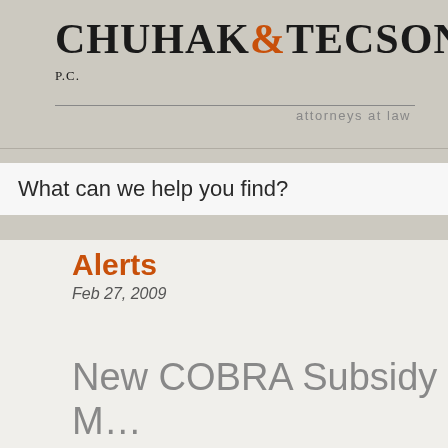CHUHAK&TECSON, P.C. attorneys at law
What can we help you find?
Alerts
Feb 27, 2009
New COBRA Subsidy M... Affect You!